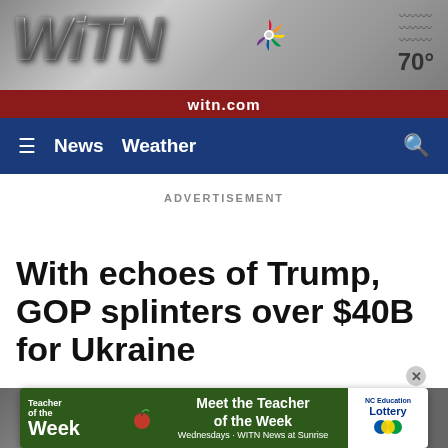[Figure (screenshot): WITN TV station header banner with logo, NBC peacock icon, witn.com URL bar in dark red, and weather showing 70 degrees]
≡  News  Weather  🔍
ADVERTISEMENT
With echoes of Trump, GOP splinters over $40B for Ukraine
[Figure (photo): Partial photo of a building, cropped at bottom of page]
[Figure (infographic): Advertisement banner: Teacher of the Week - Meet the Teacher of the Week - Wednesdays - WITN News at Sunrise - NC Education Lottery]